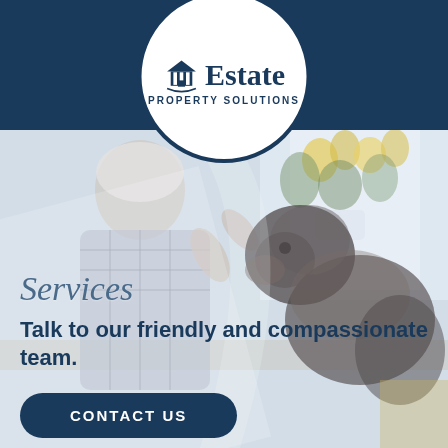[Figure (logo): Estate Property Solutions logo: circular white badge with dark navy border, house/column icon on left, 'Estate' in bold serif, 'PROPERTY SOLUTIONS' in small caps below]
[Figure (photo): Background photo of an elderly man with white hair interacting with a shaggy dog indoors, yellow flowers visible on windowsill in background]
Services
Talk to our friendly and compassionate team.
CONTACT US